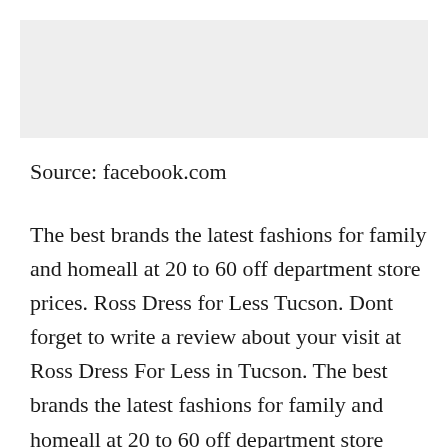[Figure (photo): Gray placeholder image at top of page]
Source: facebook.com
The best brands the latest fashions for family and homeall at 20 to 60 off department store prices. Ross Dress for Less Tucson. Dont forget to write a review about your visit at Ross Dress For Less in Tucson. The best brands the latest fashions for family and homeall at 20 to 60 off department store prices. Lets take it